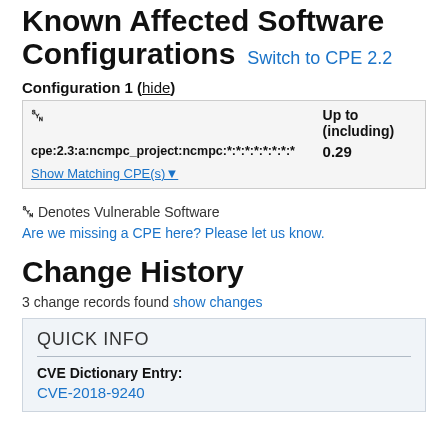Known Affected Software Configurations Switch to CPE 2.2
Configuration 1 (hide)
|  | Up to (including) |
| --- | --- |
| [bug] cpe:2.3:a:ncmpc_project:ncmpc:*:*:*:*:*:*:*:* | 0.29 |
| Show Matching CPE(s)▾ |  |
[bug] Denotes Vulnerable Software
Are we missing a CPE here? Please let us know.
Change History
3 change records found show changes
QUICK INFO
CVE Dictionary Entry:
CVE-2018-9240